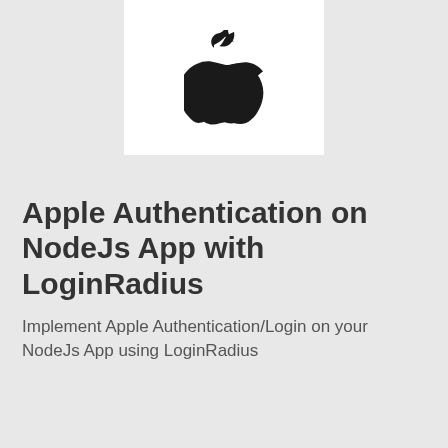[Figure (logo): Apple logo (black apple silhouette) centered on a white rectangular background]
Apple Authentication on NodeJs App with LoginRadius
Implement Apple Authentication/Login on your NodeJs App using LoginRadius